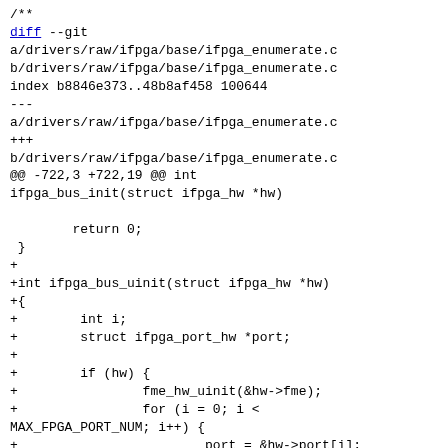/**
diff --git a/drivers/raw/ifpga/base/ifpga_enumerate.c b/drivers/raw/ifpga/base/ifpga_enumerate.c
index b8846e373..48b8af458 100644
---
a/drivers/raw/ifpga/base/ifpga_enumerate.c
+++
b/drivers/raw/ifpga/base/ifpga_enumerate.c
@@ -722,3 +722,19 @@ int ifpga_bus_init(struct ifpga_hw *hw)

        return 0;
 }
+
+int ifpga_bus_uinit(struct ifpga_hw *hw)
+{
+        int i;
+        struct ifpga_port_hw *port;
+
+        if (hw) {
+                fme_hw_uinit(&hw->fme);
+                for (i = 0; i <
MAX_FPGA_PORT_NUM; i++) {
+                        port = &hw->port[i];
+                        port_hw_uinit(port);
+                }
+        }
+
+        return 0;